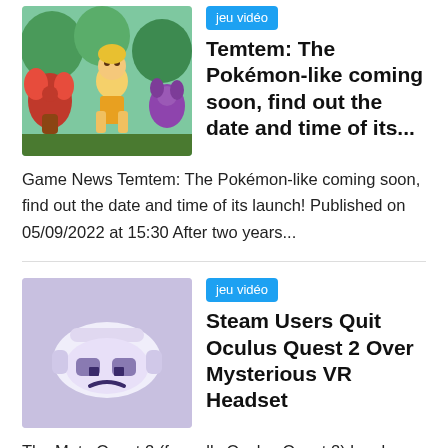[Figure (illustration): Colorful game art showing anime-style characters with creatures, featuring red leaf monsters and a female character in a forest setting]
jeu vidéo
Temtem: The Pokémon-like coming soon, find out the date and time of its...
Game News Temtem: The Pokémon-like coming soon, find out the date and time of its launch! Published on 05/09/2022 at 15:30 After two years...
[Figure (photo): Photo of an Oculus Quest 2 VR headset with a sad face drawn on it, on a light purple background]
jeu vidéo
Steam Users Quit Oculus Quest 2 Over Mysterious VR Headset
The Meta Quest 2 (formally Oculus Quest 2) has been the VR headset of choice for Steam users for quite some time. The device has been at...